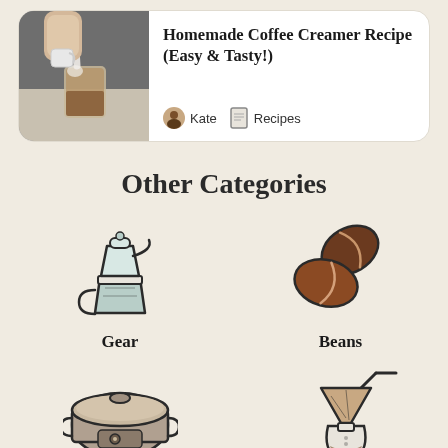[Figure (photo): Card with a photo of cream being poured into iced coffee, title 'Homemade Coffee Creamer Recipe (Easy & Tasty!)', author Kate, category Recipes]
Homemade Coffee Creamer Recipe (Easy & Tasty!)
Kate   Recipes
Other Categories
[Figure (illustration): Icon of a moka pot (stovetop espresso maker) in teal and gray]
Gear
[Figure (illustration): Icon of two coffee beans in brown]
Beans
[Figure (illustration): Icon of a slow cooker / rice cooker in gray-brown]
[Figure (illustration): Icon of a pour-over coffee dripper with flask]